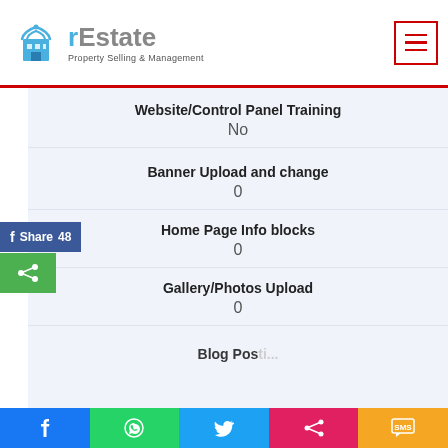rEstate Property Selling & Management
Website/Control Panel Training
No
Banner Upload and change
0
Home Page Info blocks
0
Gallery/Photos Upload
0
Blog Posting (partial)